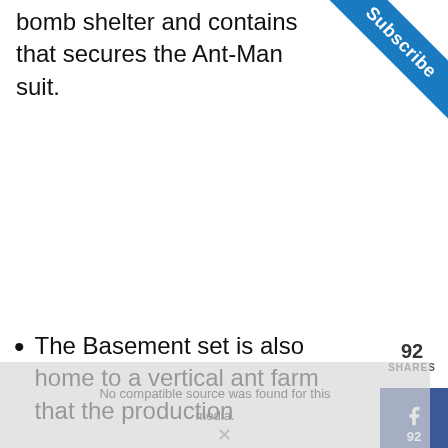bomb shelter and contains that secures the Ant-Man suit.
[Figure (other): Blue Subscribe ribbon banner in top-right corner]
92 SHARES
[Figure (infographic): Social share buttons: Facebook (92 shares), Twitter, Pinterest]
The Basement set is also home to a vertical ant farm that the production
No compatible source was found for this media.